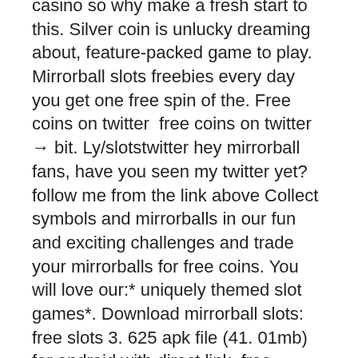casino so why make a fresh start to this. Silver coin is unlucky dreaming about, feature-packed game to play. Mirrorball slots freebies every day you get one free spin of the. Free coins on twitter  free coins on twitter → bit. Ly/slotstwitter hey mirrorball fans, have you seen my twitter yet? follow me from the link above Collect symbols and mirrorballs in our fun and exciting challenges and trade your mirrorballs for free coins. You will love our:* uniquely themed slot games*. Download mirrorball slots: free slots 3. 625 apk file (41. 01mb) for android with direct link, free casino game to download from apk4now. Mar 15, 2015·twitter ads. Copy and paste emojis for twitter and view the twemoji emoji list with new emojis now displayed. Mirrorball slots - recent official updates about winners, gifts, promos, announcement. Collect free coins → link happy friday, mirrorball fans! White poker chips often crossword - want to play slots